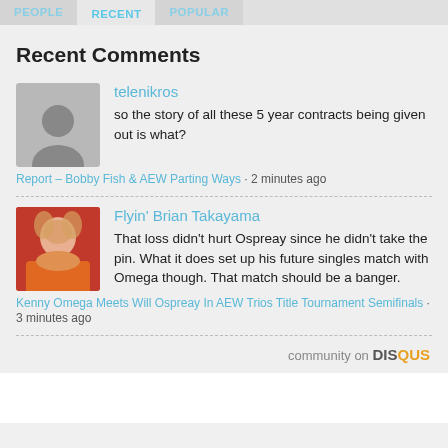PEOPLE  RECENT  POPULAR
Recent Comments
telenikros
so the story of all these 5 year contracts being given out is what?
Report – Bobby Fish & AEW Parting Ways · 2 minutes ago
Flyin' Brian Takayama
That loss didn't hurt Ospreay since he didn't take the pin. What it does set up his future singles match with Omega though. That match should be a banger.
Kenny Omega Meets Will Ospreay In AEW Trios Title Tournament Semifinals · 3 minutes ago
community on DISQUS